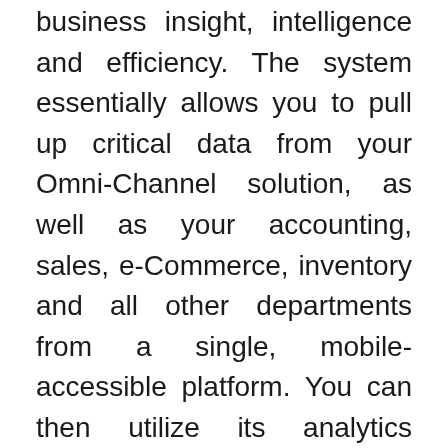business insight, intelligence and efficiency. The system essentially allows you to pull up critical data from your Omni-Channel solution, as well as your accounting, sales, e-Commerce, inventory and all other departments from a single, mobile-accessible platform. You can then utilize its analytics features to lead your team with complete clarity from anywhere, at anytime.
With the SAP Business One and Omni-Channel Solution dual-powerhouse, you gain the ability to provide